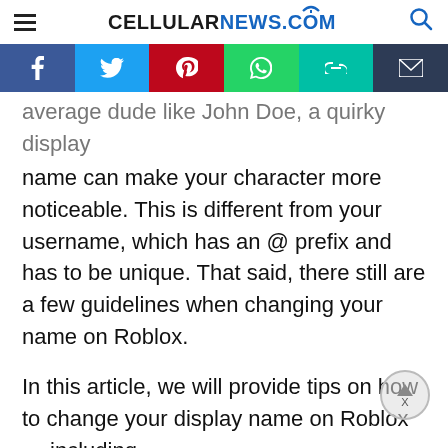CELLULARNEWS.COM
[Figure (infographic): Social sharing bar with Facebook, Twitter, Pinterest, WhatsApp, link, and email buttons]
average dude like John Doe, a quirky display name can make your character more noticeable. This is different from your username, which has an @ prefix and has to be unique. That said, there still are a few guidelines when changing your name on Roblox.
In this article, we will provide tips on how to change your display name on Roblox — including guidelines with requirements that have to...